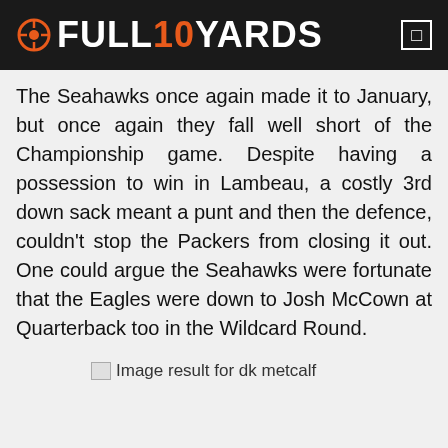FULL10YARDS
The Seahawks once again made it to January, but once again they fall well short of the Championship game. Despite having a possession to win in Lambeau, a costly 3rd down sack meant a punt and then the defence, couldn't stop the Packers from closing it out. One could argue the Seahawks were fortunate that the Eagles were down to Josh McCown at Quarterback too in the Wildcard Round.
[Figure (photo): Broken image placeholder with alt text 'Image result for dk metcalf']